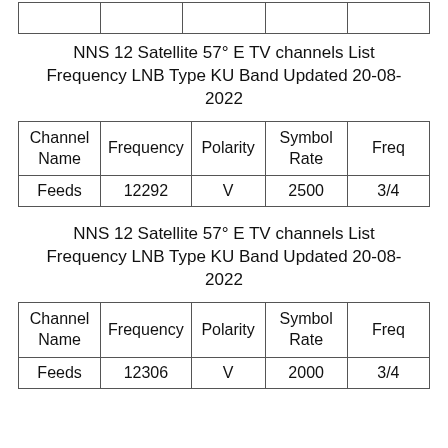|  |  |  |  |  |
NNS 12 Satellite 57° E TV channels List Frequency LNB Type KU Band Updated 20-08-2022
| Channel Name | Frequency | Polarity | Symbol Rate | Freq |
| --- | --- | --- | --- | --- |
| Feeds | 12292 | V | 2500 | 3/4 |
NNS 12 Satellite 57° E TV channels List Frequency LNB Type KU Band Updated 20-08-2022
| Channel Name | Frequency | Polarity | Symbol Rate | Freq |
| --- | --- | --- | --- | --- |
| Feeds | 12306 | V | 2000 | 3/4 |